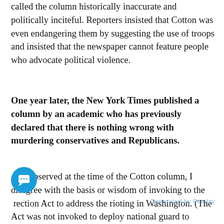called the column historically inaccurate and politically inciteful. Reporters insisted that Cotton was even endangering them by suggesting the use of troops and insisted that the newspaper cannot feature people who advocate political violence.
One year later, the New York Times published a column by an academic who has previously declared that there is nothing wrong with murdering conservatives and Republicans.
As I observed at the time of the Cotton column, I disagree with the basis or wisdom of invoking to the ⁠rection Act to address the rioting in Washington. (The Act was not invoked to deploy national guard to
Generated by Feedzy